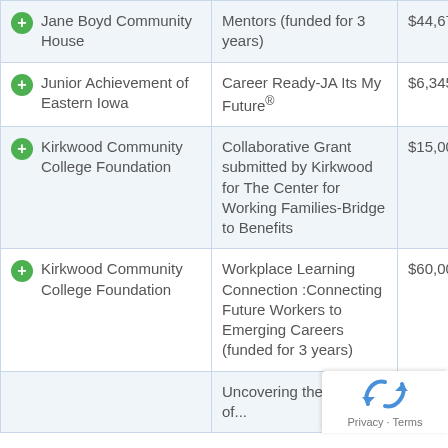| Organization | Program | Amount |
| --- | --- | --- |
| Jane Boyd Community House | Mentors (funded for 3 years) | $44,677.70 |
| Junior Achievement of Eastern Iowa | Career Ready-JA Its My Future® | $6,345 |
| Kirkwood Community College Foundation | Collaborative Grant submitted by Kirkwood for The Center for Working Families-Bridge to Benefits | $15,000 |
| Kirkwood Community College Foundation | Workplace Learning Connection :Connecting Future Workers to Emerging Careers (funded for 3 years) | $60,000 |
|  | Uncovering the Potential of... |  |